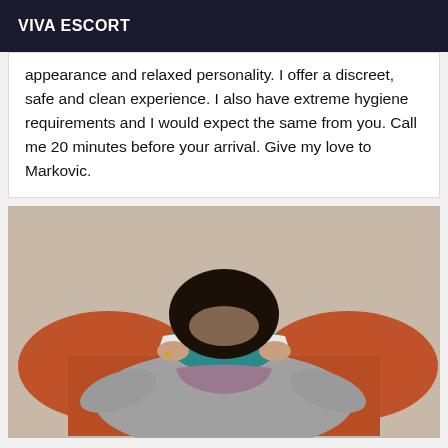VIVA ESCORT
appearance and relaxed personality. I offer a discreet, safe and clean experience. I also have extreme hygiene requirements and I would expect the same from you. Call me 20 minutes before your arrival. Give my love to Markovic.
[Figure (photo): A person lying on a sofa/couch, dark curly hair, wearing grey clothing, holding up a teal/blue garment revealing lace underwear underneath. Orange/red couch visible in background.]